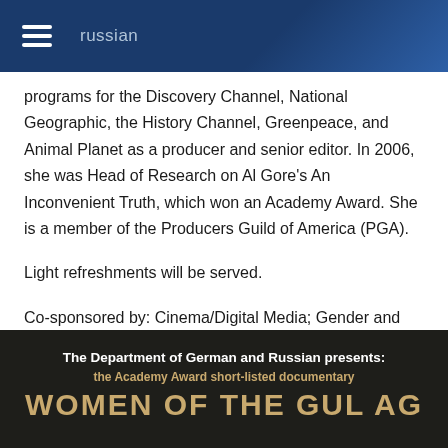russian
programs for the Discovery Channel, National Geographic, the History Channel, Greenpeace, and Animal Planet as a producer and senior editor. In 2006, she was Head of Research on Al Gore's An Inconvenient Truth, which won an Academy Award. She is a member of the Producers Guild of America (PGA).
Light refreshments will be served.
Co-sponsored by: Cinema/Digital Media; Gender and Women's Studies; the Human Rights Program; and the Davis Humanities Institute.
The Department of German and Russian presents: the Academy Award short-listed documentary WOMEN OF THE GULAG